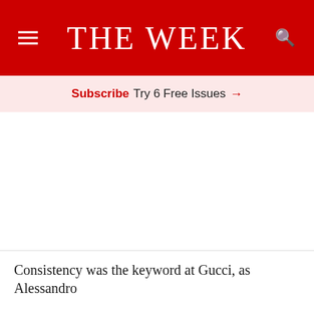THE WEEK
Subscribe Try 6 Free Issues →
Consistency was the keyword at Gucci, as Alessandro